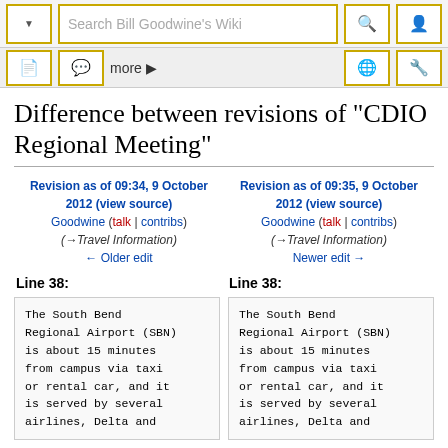Search Bill Goodwine's Wiki
Difference between revisions of "CDIO Regional Meeting"
Revision as of 09:34, 9 October 2012 (view source)
Goodwine (talk | contribs)
(→Travel Information)
← Older edit
Revision as of 09:35, 9 October 2012 (view source)
Goodwine (talk | contribs)
(→Travel Information)
Newer edit →
Line 38:
Line 38:
The South Bend Regional Airport (SBN) is about 15 minutes from campus via taxi or rental car, and it is served by several airlines, Delta and
The South Bend Regional Airport (SBN) is about 15 minutes from campus via taxi or rental car, and it is served by several airlines, Delta and